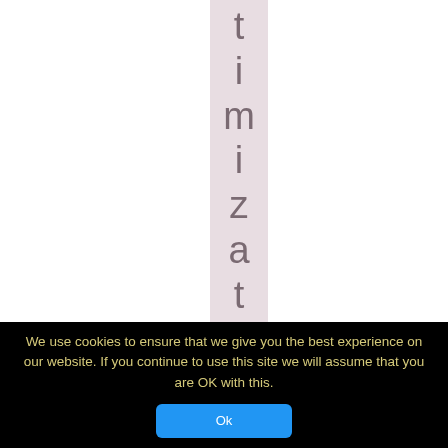[Figure (other): A vertical strip with a light pinkish-gray background running down the center of the page, containing vertical text spelling out 'timization' with one large letter per line.]
We use cookies to ensure that we give you the best experience on our website. If you continue to use this site we will assume that you are OK with this.
Ok